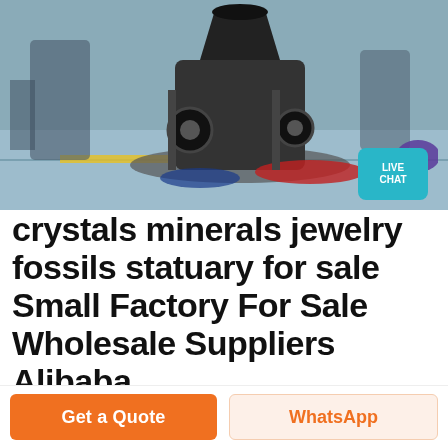[Figure (photo): Industrial machinery/crusher in a factory setting with blue-grey floors and industrial equipment. A LIVE CHAT badge is overlaid in the bottom-right corner of the image.]
crystals minerals jewelry fossils statuary for sale Small Factory For Sale Wholesale Suppliers Alibaba
Welcome to Earth Gallery Incredible hand picked crystals minerals at great pric We opened our first crystal store in in a small coastal town in Northern California Since then we have had stores throughout California and Hawaii We established our web presence in when we launched EarthGallerySmall factory for sale products are most popular in North America